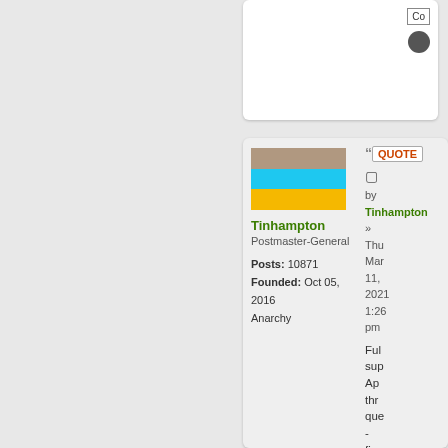[Figure (screenshot): Top forum post card with icons (quote/reply button and navigation icon) visible at top right]
[Figure (screenshot): Forum post card showing user Tinhampton (Postmaster-General, Posts: 10871, Founded: Oct 05, 2016, Anarchy) with a three-stripe flag (tan, cyan, orange), a QUOTE button, post timestamp Thu Mar 11, 2021 1:26 pm, and partial post body text beginning 'Ful...sup...Ap...thr...que...-...firs...will...the...app...of...a...Vic']